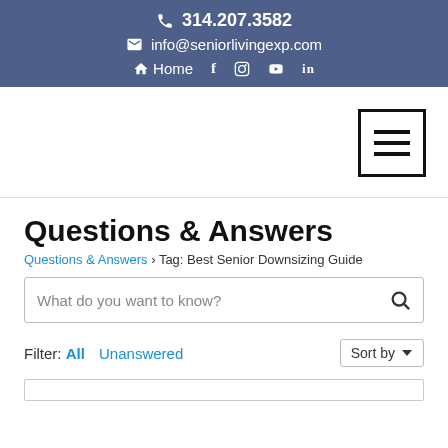📞 314.207.3582 | ✉ info@seniorlivingexp.com | Home | f | Instagram | YouTube | in
[Figure (other): Hamburger menu button icon (three horizontal bars in a square border)]
Questions & Answers
Questions & Answers › Tag: Best Senior Downsizing Guide
What do you want to know?
Filter: All Unanswered  Sort by ▾